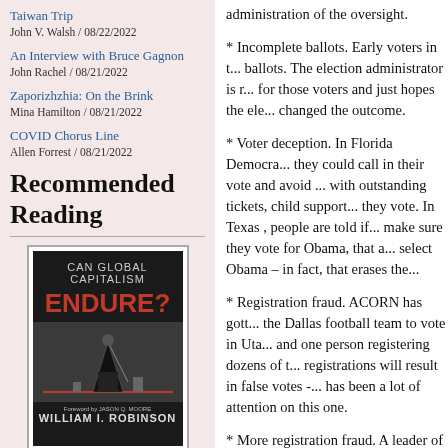Taiwan Trip
John V. Walsh / 08/22/2022
An Interview with Bruce Gagnon
John Rachel / 08/21/2022
Zaporizhzhia: On the Brink
Mina Hamilton / 08/21/2022
COVID Chorus Line
Allen Forrest / 08/21/2022
Recommended Reading
[Figure (illustration): Book cover of 'Can Global Capitalism Endure?' by William I. Robinson]
Can Global Capitalism Endure?
William I. Robinson
administration of the oversight.
* Incomplete ballots. Early voters in t... ballots. The election administrator is r... for those voters and just hopes the ele... changed the outcome.
* Voter deception. In Florida Democra... they could call in their vote and avoid ... with outstanding tickets, child support... they vote. In Texas , people are told if... make sure they vote for Obama, that a... select Obama – in fact, that erases the...
* Registration fraud. ACORN has gott... the Dallas football team to vote in Uta... and one person registering dozens of t... registrations will result in false votes -... has been a lot of attention on this one.
* More registration fraud. A leader of ... McCain campaign has been arrested o...